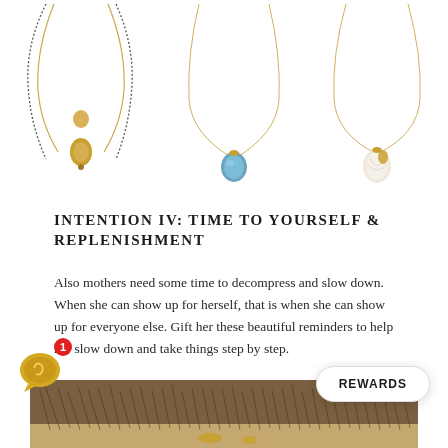[Figure (photo): Three gold pendant necklaces on white background: left is a layered double-strand necklace with round and oval pendants, center is a single delicate chain with a blue oval stone, right is a single delicate chain with a shell/pearl pendant]
INTENTION IV: TIME TO YOURSELF & REPLENISHMENT
Also mothers need some time to decompress and slow down. When she can show up for herself, that is when she can show up for everyone else. Gift her these beautiful reminders to help her slow down and take things step by step.
[Figure (photo): Bottom portion of an outdoor nature/beach scene with dried grasses and gold jewelry]
[Figure (other): Gold chat/WhatsApp icon with red notification badge showing number 1]
[Figure (other): White rounded rectangle REWARDS button]